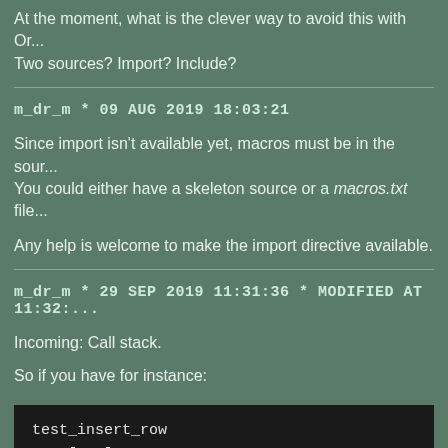At the moment, what is the clever way to avoid this with Or... Two sources? Import? Include?
m_dr_m * 09 AUG 2019 18:03:21
Since import isn't available yet, macros must be in the sour... You could either have a skeleton source or a macros.txt file...
Any help is welcome to make the import directive available.
m_dr_m * 29 SEP 2019 11:31:36 * MODIFIED AT 11:32:...
Incoming: Call stack.
So if you have for instance:
test_insert_row
    [...]
    call prepare_row
    call insert row